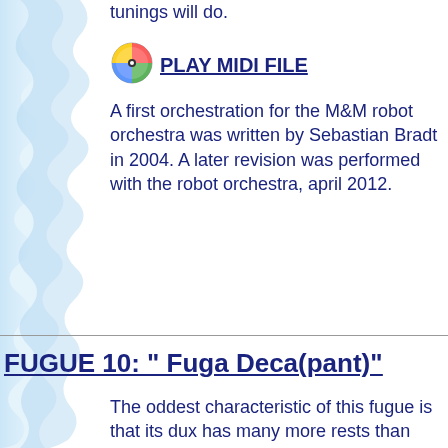tunings will do.
[Figure (other): Colorful MIDI disc icon with rainbow segments]
PLAY MIDI FILE
A first orchestration for the M&M robot orchestra was written by Sebastian Bradt in 2004. A later revision was performed with the robot orchestra, april 2012.
FUGUE 10: " Fuga Deca(pant)"
The oddest characteristic of this fugue is that its dux has many more rests than notes. The notes have a simple arithmetic